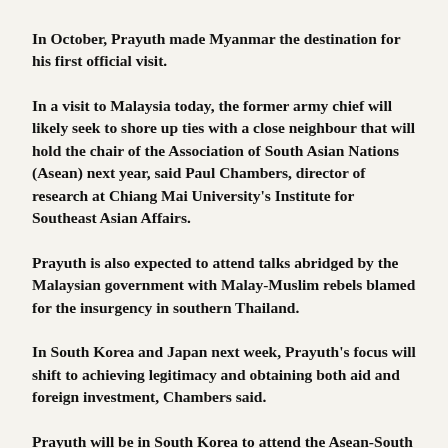In October, Prayuth made Myanmar the destination for his first official visit.
In a visit to Malaysia today, the former army chief will likely seek to shore up ties with a close neighbour that will hold the chair of the Association of South Asian Nations (Asean) next year, said Paul Chambers, director of research at Chiang Mai University's Institute for Southeast Asian Affairs.
Prayuth is also expected to attend talks abridged by the Malaysian government with Malay-Muslim rebels blamed for the insurgency in southern Thailand.
In South Korea and Japan next week, Prayuth's focus will shift to achieving legitimacy and obtaining both aid and foreign investment, Chambers said.
Prayuth will be in South Korea to attend the Asean-South Korea Commemorative Summit on December 11-12.